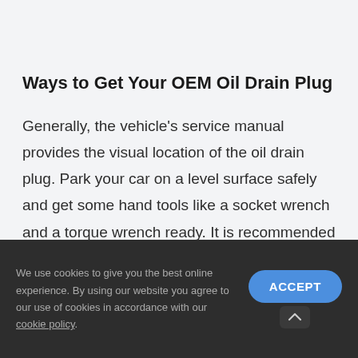Ways to Get Your OEM Oil Drain Plug
Generally, the vehicle's service manual provides the visual location of the oil drain plug. Park your car on a level surface safely and get some hand tools like a socket wrench and a torque wrench ready. It is recommended to run
We use cookies to give you the best online experience. By using our website you agree to our use of cookies in accordance with our cookie policy.